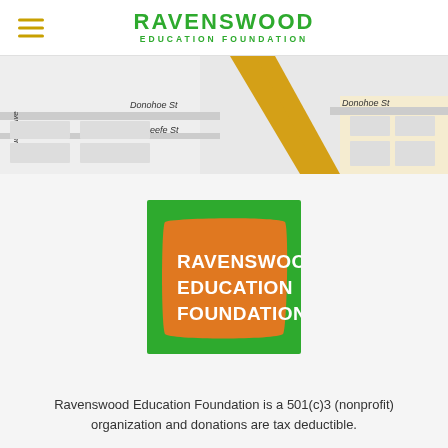RAVENSWOOD EDUCATION FOUNDATION
[Figure (map): Street map showing Donohoe St, E Okeefe St, Cuarto Ave area]
[Figure (logo): Ravenswood Education Foundation logo: green square background with orange textured rectangle containing white bold text RAVENSWOOD EDUCATION FOUNDATION]
Ravenswood Education Foundation is a 501(c)3 (nonprofit) organization and donations are tax deductible.